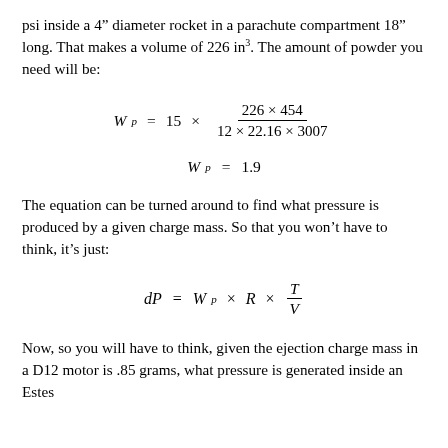psi inside a 4" diameter rocket in a parachute compartment 18" long. That makes a volume of 226 in³. The amount of powder you need will be:
The equation can be turned around to find what pressure is produced by a given charge mass. So that you won't have to think, it's just:
Now, so you will have to think, given the ejection charge mass in a D12 motor is .85 grams, what pressure is generated inside an Estes